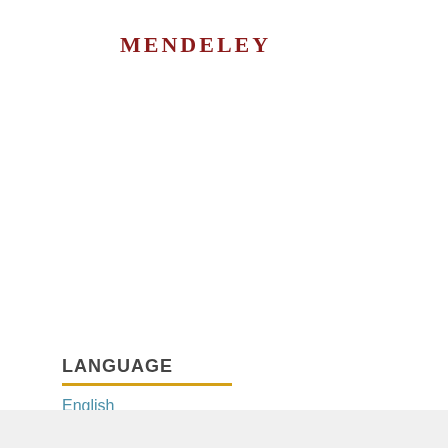[Figure (logo): Mendeley logo text in dark red serif font]
[Figure (screenshot): Histats.com widget showing Vis. today: 37, Visits: 35 182, Pag. today: 142]
LANGUAGE
English
Bahasa Indonesia